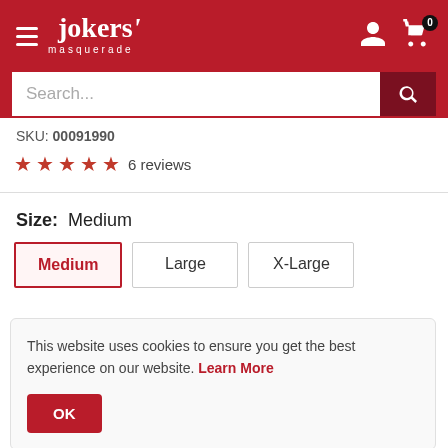[Figure (screenshot): Jokers' Masquerade website header with red background, hamburger menu, logo, user icon, cart icon with badge 0, and search bar]
SKU: 00091990
★★★★★ 6 reviews
Size: Medium
Medium | Large | X-Large
This website uses cookies to ensure you get the best experience on our website. Learn More
OK